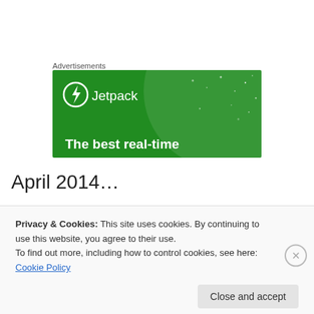Advertisements
[Figure (illustration): Jetpack advertisement banner with green background, circular logo with lightning bolt, text reading 'The best real-time']
April 2014…
Hey!  Sorry I haven't written in a while.  I got side-tracked
Privacy & Cookies: This site uses cookies. By continuing to use this website, you agree to their use.
To find out more, including how to control cookies, see here: Cookie Policy
Close and accept